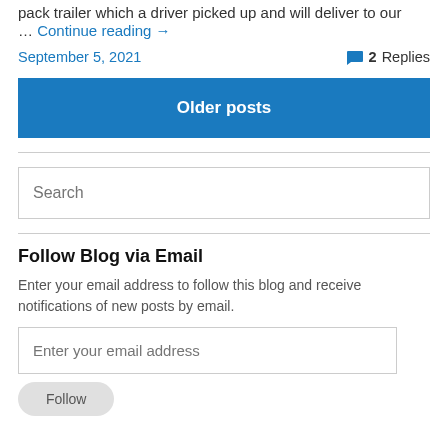pack trailer which a driver picked up and will deliver to our … Continue reading →
September 5, 2021
2 Replies
Older posts
Search
Follow Blog via Email
Enter your email address to follow this blog and receive notifications of new posts by email.
Enter your email address